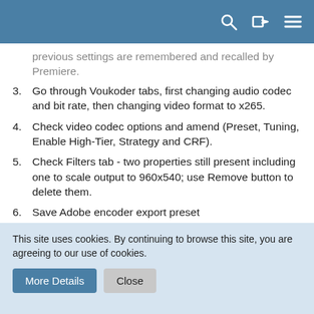[Navigation header with search, login, and menu icons]
previous settings are remembered and recalled by Premiere.
3. Go through Voukoder tabs, first changing audio codec and bit rate, then changing video format to x265.
4. Check video codec options and amend (Preset, Tuning, Enable High-Tier, Strategy and CRF).
5. Check Filters tab - two properties still present including one to scale output to 960x540; use Remove button to delete them.
6. Save Adobe encoder export preset
7. Encode the three minute video, which takes almost an hour 😄
8. Play back rendered video - it has been cropped to the top-left 960x540 pixels.
This site uses cookies. By continuing to browse this site, you are agreeing to our use of cookies.